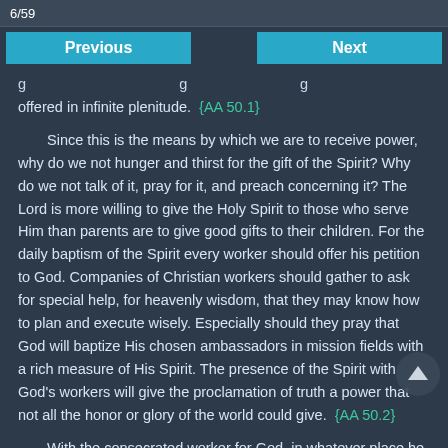6/59
Previous
Next
offered in infinite plenitude. {AA 50.1}
Since this is the means by which we are to receive power, why do we not hunger and thirst for the gift of the Spirit? Why do we not talk of it, pray for it, and preach concerning it? The Lord is more willing to give the Holy Spirit to those who serve Him than parents are to give good gifts to their children. For the daily baptism of the Spirit every worker should offer his petition to God. Companies of Christian workers should gather to ask for special help, for heavenly wisdom, that they may know how to plan and execute wisely. Especially should they pray that God will baptize His chosen ambassadors in mission fields with a rich measure of His Spirit. The presence of the Spirit with God's workers will give the proclamation of truth a power that not all the honor or glory of the world could give. {AA 50.2}
With the consecrated worker for God, in whatever place he may be, the Holy Spirit abides. The words spoken to the disciples are spoken also to us. The Comforter is ours as well as theirs. The Spirit furnishes the strength that sustains striving, wrestling souls in every emergency, amidst the hatred of